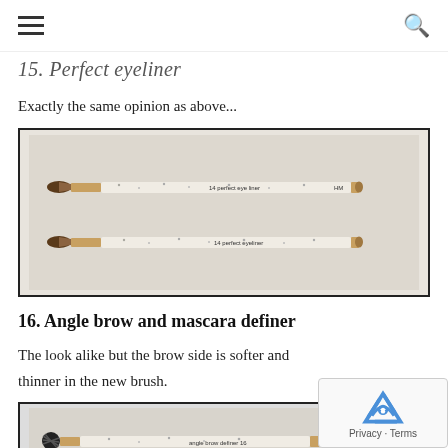≡  🔍
15. Perfect eyeliner
Exactly the same opinion as above...
[Figure (photo): Two makeup brushes side by side — both are pencil-style eyeliner brushes with white speckled handles and gold ferrules. The top is labeled '14 perfect eye liner HM', the bottom is labeled '14 perfect eyeliner'.]
16. Angle brow and mascara definer
The look alike but the brow side is softer and thinner in the new brush.
[Figure (photo): Two makeup brushes — one with a spoolie/mascara wand end and a flat angled brush end, shown side by side with white speckled handles and gold ferrules. Labeled 'angle brow definer 16 HM'.]